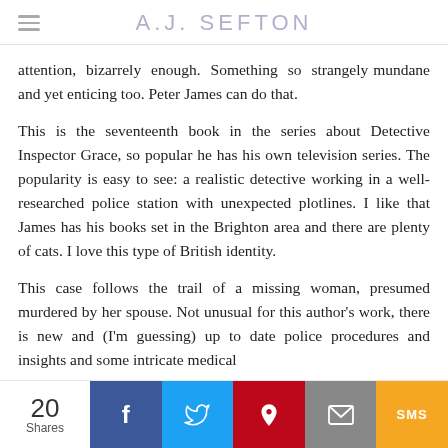A.J. SEFTON
attention, bizarrely enough. Something so strangely mundane and yet enticing too. Peter James can do that.
This is the seventeenth book in the series about Detective Inspector Grace, so popular he has his own television series. The popularity is easy to see: a realistic detective working in a well-researched police station with unexpected plotlines. I like that James has his books set in the Brighton area and there are plenty of cats. I love this type of British identity.
This case follows the trail of a missing woman, presumed murdered by her spouse. Not unusual for this author's work, there is new and (I'm guessing) up to date police procedures and insights and some intricate medical
20 Shares | Facebook | Twitter | Pinterest | Email | SMS